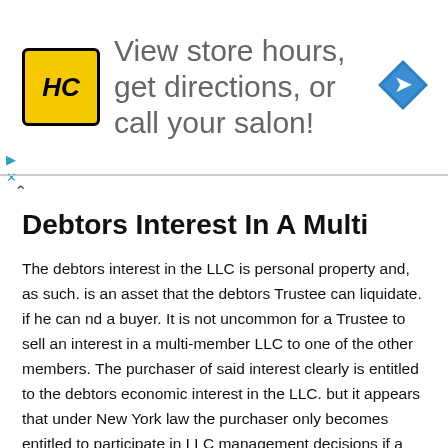[Figure (other): Advertisement banner for a salon with HC logo, text 'View store hours, get directions, or call your salon!' and a blue navigation arrow icon]
Debtors Interest In A Multi
The debtors interest in the LLC is personal property and, as such. is an asset that the debtors Trustee can liquidate. if he can nd a buyer. It is not uncommon for a Trustee to sell an interest in a multi-member LLC to one of the other members. The purchaser of said interest clearly is entitled to the debtors economic interest in the LLC. but it appears that under New York law the purchaser only becomes entitled to participate in LLC management decisions if a majority of the other members authorize it.
The Chapter 7 Trustee can also seek: